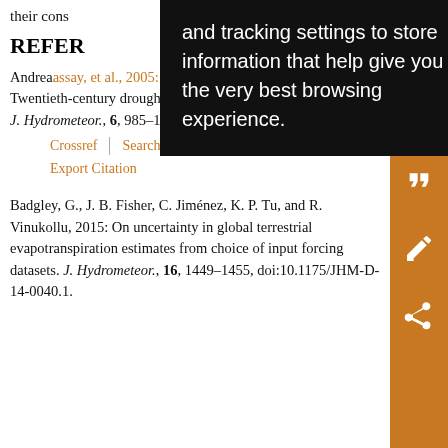their cons…
REFER…
Andreaassay, et al., 2005: Hamlet, and D. P. Lettenmaier, 2005: Twentieth-century drought in the conterminous United States. J. Hydrometeor., 6, 985–1001, doi:10.1175/JHM450.1.
Crossref | Search Google Scholar
Export Citation
Badgley, G., J. B. Fisher, C. Jiménez, K. P. Tu, and R. Vinukollu, 2015: On uncertainty in global terrestrial evapotranspiration estimates from choice of input forcing datasets. J. Hydrometeor., 16, 1449–1455, doi:10.1175/JHM-D-14-0040.1.